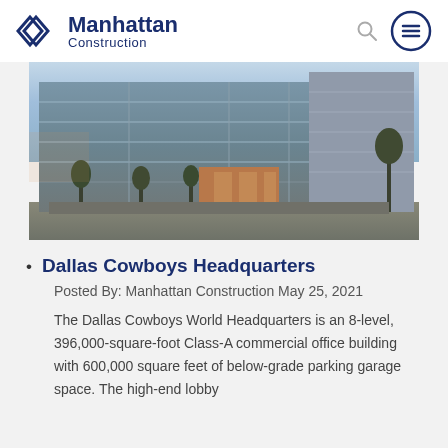[Figure (logo): Manhattan Construction logo with diamond/chevron icon and text 'Manhattan Construction']
[Figure (photo): Exterior photograph of Dallas Cowboys World Headquarters building — a modern glass-facade multi-story office building at dusk/sunset with trees in foreground]
Dallas Cowboys Headquarters
Posted By: Manhattan Construction May 25, 2021
The Dallas Cowboys World Headquarters is an 8-level, 396,000-square-foot Class-A commercial office building with 600,000 square feet of below-grade parking garage space. The high-end lobby